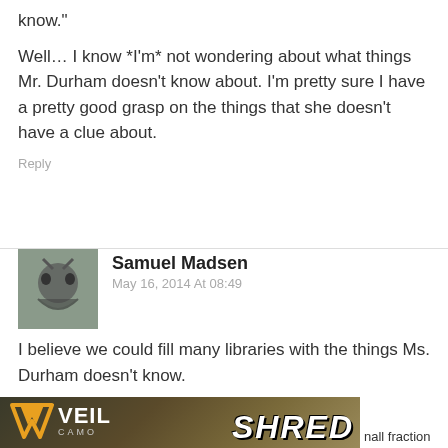know."
Well… I know *I'm* not wondering about what things Mr. Durham doesn't know about. I'm pretty sure I have a pretty good grasp on the things that she doesn't have a clue about.
Reply
Samuel Madsen
May 16, 2014 At 08:49
I believe we could fill many libraries with the things Ms. Durham doesn't know.
Reply
[Figure (illustration): Veil Camo advertisement banner with SHRED text and camouflage background]
nall fraction